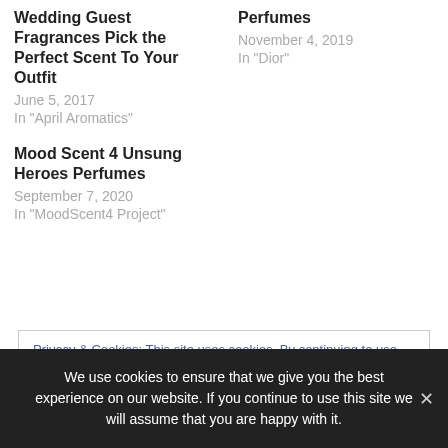Wedding Guest Fragrances Pick the Perfect Scent To Your Outfit
June 5, 2017
In "April Aromatics"
Perfumes
November 4, 2019
In "Dior"
Mood Scent 4 Unsung Heroes Perfumes
September 7, 2020
In "MoodScent4 Project"
Privacy & Cookies: This site uses cookies. By continuing to use this website, you agree to their use.
We use cookies to ensure that we give you the best experience on our website. If you continue to use this site we will assume that you are happy with it.